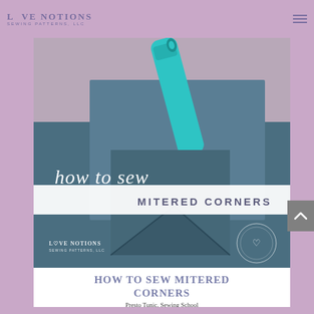LOVE NOTIONS SEWING PATTERNS, LLC
[Figure (photo): Photo showing how to sew mitered corners — teal/blue denim fabric folded at a mitered corner with a teal sewing tool visible at top. Overlaid script text reads 'how to sew' and bold text reads 'MITERED CORNERS'. Love Notions branding watermark at bottom left and circular badge at bottom right.]
HOW TO SEW MITERED CORNERS
Presto Tunic, Sewing School